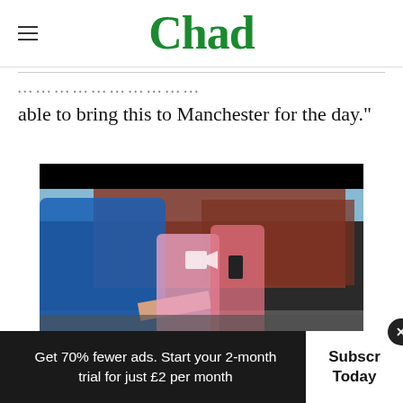Chad
able to bring this to Manchester for the day."
[Figure (photo): Street scene video thumbnail showing a man in a blue jacket gesturing with outstretched arm, a woman smiling, and a man filming with a phone in the background, on a Manchester street with red-brick buildings. A video camera icon overlay is visible in the center.]
Get 70% fewer ads. Start your 2-month trial for just £2 per month
Subscribe Today